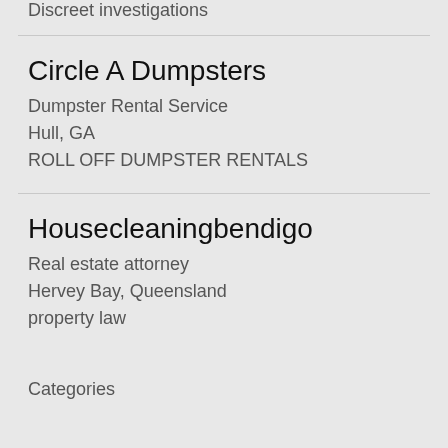Discreet investigations
Circle A Dumpsters
Dumpster Rental Service
Hull, GA
ROLL OFF DUMPSTER RENTALS
Housecleaningbendigo
Real estate attorney
Hervey Bay, Queensland
property law
Categories